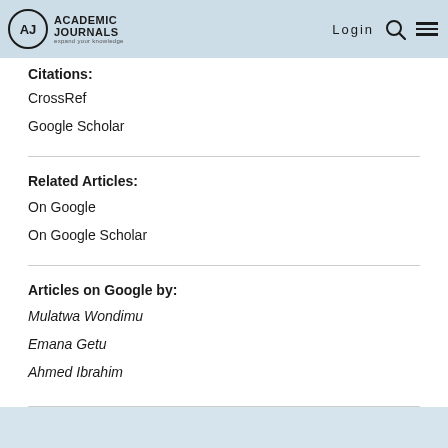Academic Journals — expand your knowledge | Login
Citations:
CrossRef
Google Scholar
Related Articles:
On Google
On Google Scholar
Articles on Google by:
Mulatwa Wondimu
Emana Getu
Ahmed Ibrahim